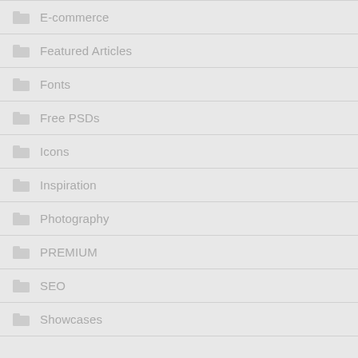E-commerce
Featured Articles
Fonts
Free PSDs
Icons
Inspiration
Photography
PREMIUM
SEO
Showcases